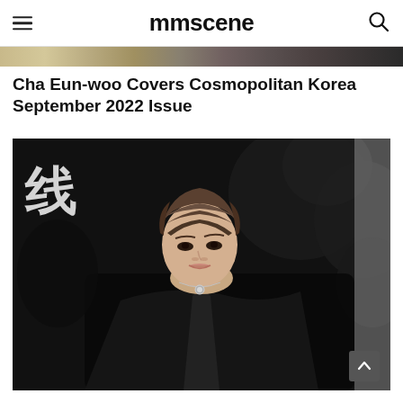mmscene
[Figure (photo): Partial view of a photograph at the top of the page, showing a golden/tan background strip]
Cha Eun-woo Covers Cosmopolitan Korea September 2022 Issue
[Figure (photo): Photo of Cha Eun-woo wearing a black leather jacket and silver necklace, with Chinese character 线 visible in background, surrounded by dark balloon-like shapes]